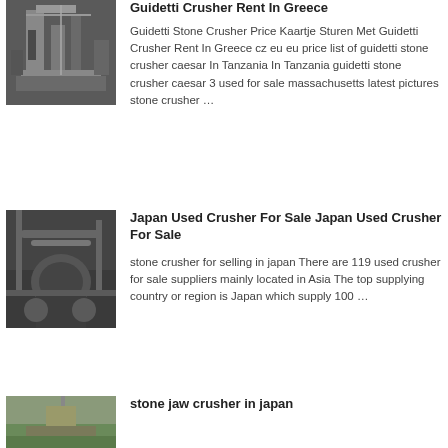[Figure (photo): Industrial stone crusher machinery photo]
Guidetti Crusher Rent In Greece
Guidetti Stone Crusher Price Kaartje Sturen Met Guidetti Crusher Rent In Greece cz eu eu price list of guidetti stone crusher caesar In Tanzania In Tanzania guidetti stone crusher caesar 3 used for sale massachusetts latest pictures stone crusher …
[Figure (photo): Industrial crusher machinery interior with pipes]
Japan Used Crusher For Sale Japan Used Crusher For Sale
stone crusher for selling in japan There are 119 used crusher for sale suppliers mainly located in Asia The top supplying country or region is Japan which supply 100 …
[Figure (photo): Outdoor stone jaw crusher equipment]
stone jaw crusher in japan